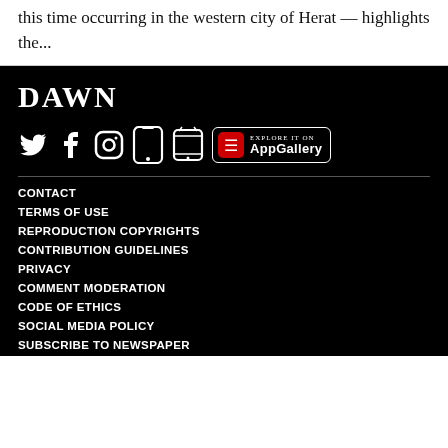this time occurring in the western city of Herat — highlights the...
[Figure (logo): DAWN news website logo and footer with social media icons (Twitter, Facebook, Instagram, iOS app, Android app, Huawei AppGallery), and navigation links: CONTACT, TERMS OF USE, REPRODUCTION COPYRIGHTS, CONTRIBUTION GUIDELINES, PRIVACY, COMMENT MODERATION, CODE OF ETHICS, SOCIAL MEDIA POLICY, SUBSCRIBE TO NEWSPAPER, ADVERTISE ON DAWN.COM, SPONSORED CONTENT, CLASSIFIEDS, OBITUARIES]
CONTACT
TERMS OF USE
REPRODUCTION COPYRIGHTS
CONTRIBUTION GUIDELINES
PRIVACY
COMMENT MODERATION
CODE OF ETHICS
SOCIAL MEDIA POLICY
SUBSCRIBE TO NEWSPAPER
ADVERTISE ON DAWN.COM
SPONSORED CONTENT
CLASSIFIEDS
OBITUARIES